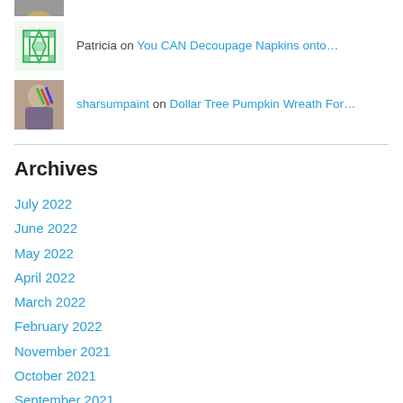Patricia on You CAN Decoupage Napkins onto…
sharsumpaint on Dollar Tree Pumpkin Wreath For…
Archives
July 2022
June 2022
May 2022
April 2022
March 2022
February 2022
November 2021
October 2021
September 2021
August 2021